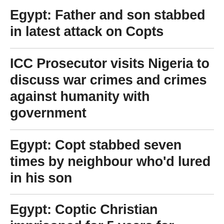Egypt: Father and son stabbed in latest attack on Copts
ICC Prosecutor visits Nigeria to discuss war crimes and crimes against humanity with government
Egypt: Copt stabbed seven times by neighbour who'd lured in his son
Egypt: Coptic Christian imprisoned for 5 years for